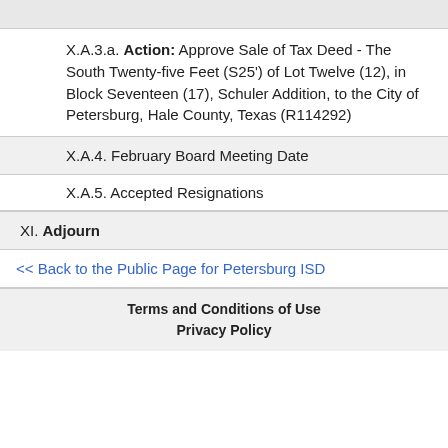X.A.3.a. Action: Approve Sale of Tax Deed - The South Twenty-five Feet (S25') of Lot Twelve (12), in Block Seventeen (17), Schuler Addition, to the City of Petersburg, Hale County, Texas (R114292)
X.A.4. February Board Meeting Date
X.A.5. Accepted Resignations
XI. Adjourn
<< Back to the Public Page for Petersburg ISD
Terms and Conditions of Use
Privacy Policy